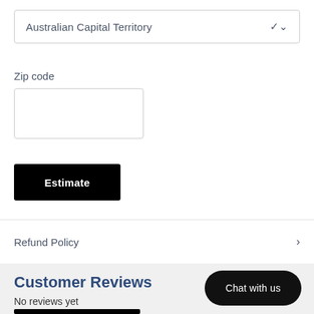[Figure (screenshot): Dropdown selector showing 'Australian Capital Territory' with a chevron arrow on the right]
Zip code
[Figure (screenshot): Empty text input box for zip code entry]
[Figure (screenshot): Black 'Estimate' button]
Refund Policy
Customer Reviews
No reviews yet
[Figure (screenshot): Black rounded 'Chat with us' button]